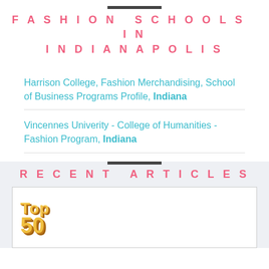FASHION SCHOOLS IN INDIANAPOLIS
Harrison College, Fashion Merchandising, School of Business Programs Profile, Indiana
Vincennes Univerity - College of Humanities - Fashion Program, Indiana
RECENT ARTICLES
[Figure (photo): Top 50 badge/logo image in gold 3D text]